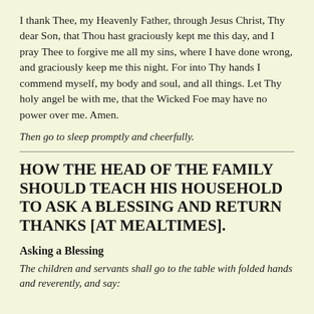I thank Thee, my Heavenly Father, through Jesus Christ, Thy dear Son, that Thou hast graciously kept me this day, and I pray Thee to forgive me all my sins, where I have done wrong, and graciously keep me this night. For into Thy hands I commend myself, my body and soul, and all things. Let Thy holy angel be with me, that the Wicked Foe may have no power over me. Amen.
Then go to sleep promptly and cheerfully.
HOW THE HEAD OF THE FAMILY SHOULD TEACH HIS HOUSEHOLD TO ASK A BLESSING AND RETURN THANKS [AT MEALTIMES].
Asking a Blessing
The children and servants shall go to the table with folded hands and reverently, and say: